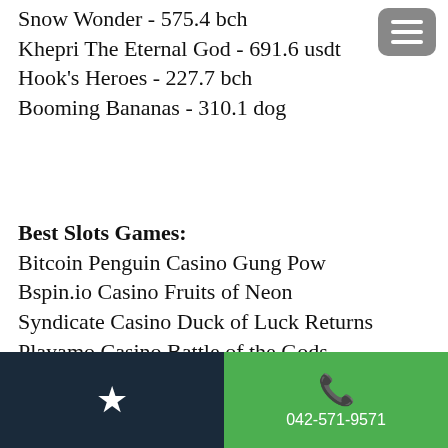Snow Wonder - 575.4 bch
Khepri The Eternal God - 691.6 usdt
Hook's Heroes - 227.7 bch
Booming Bananas - 310.1 dog
Best Slots Games:
Bitcoin Penguin Casino Gung Pow
Bspin.io Casino Fruits of Neon
Syndicate Casino Duck of Luck Returns
Playamo Casino Battle of the Gods
Oshi Casino Mafia
OneHash Rockstar
Diamond Reels Casino Four Beauties
mBTC free bet Jewel Land
22Bet Casino Dracula's Family
Oshi Casino Great Queen Bee
mBTC free bet Fruit Mania
CryptoWild Casino Cosmic Cat
042-571-9571